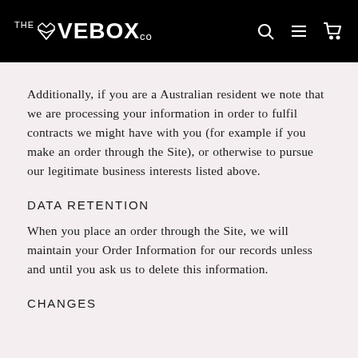THE LOVEBOX co
Additionally, if you are a Australian resident we note that we are processing your information in order to fulfil contracts we might have with you (for example if you make an order through the Site), or otherwise to pursue our legitimate business interests listed above.
DATA RETENTION
When you place an order through the Site, we will maintain your Order Information for our records unless and until you ask us to delete this information.
CHANGES